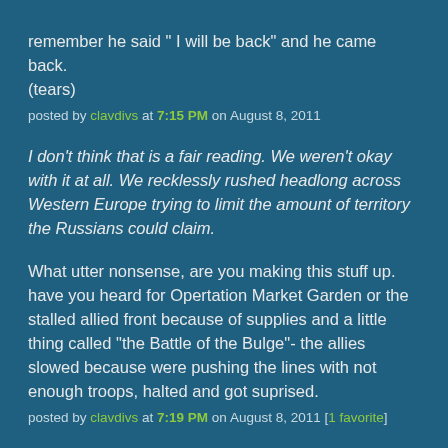remember he said " I will be back" and he came back. (tears)
posted by clavdivs at 7:15 PM on August 8, 2011
I don't think that is a fair reading. We weren't okay with it at all. We recklessly rushed headlong across Western Europe trying to limit the amount of territory the Russians could claim.
What utter nonsense, are you making this stuff up. have you heard for Opertation Market Garden or the stalled allied front because of supplies and a little thing called "the Battle of the Bulge"- the allies slowed because were pushing the lines with not enough troops, halted and got suprised.
posted by clavdivs at 7:19 PM on August 8, 2011 [1 favorite]